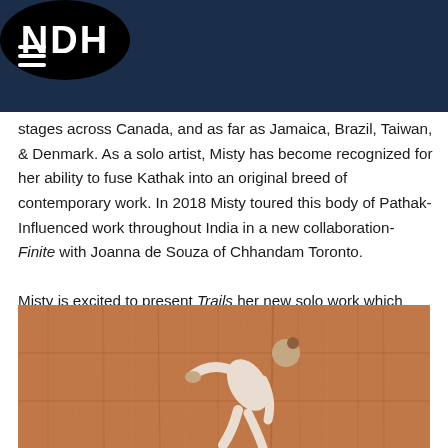NDH
stages across Canada, and as far as Jamaica, Brazil, Taiwan, & Denmark. As a solo artist, Misty has become recognized for her ability to fuse Kathak into an original breed of contemporary work. In 2018 Misty toured this body of Pathak-Influenced work throughout India in a new collaboration- Finite with Joanna de Souza of Chhandam Toronto.
Misty is excited to present Trails her new solo work which fuses elements of contemporary dance, songwriting, music production, and theatre.
[Figure (photo): Dancer bending backwards against a wooden panel wall background, wearing light-colored clothing]